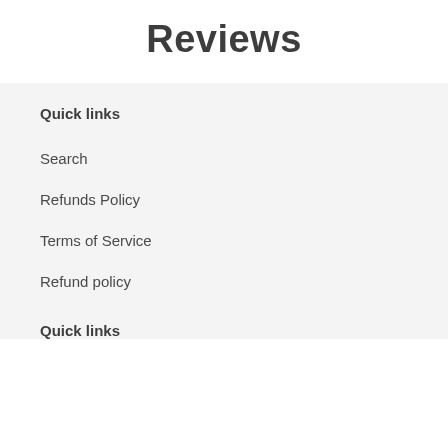Reviews
Quick links
Search
Refunds Policy
Terms of Service
Refund policy
Quick links